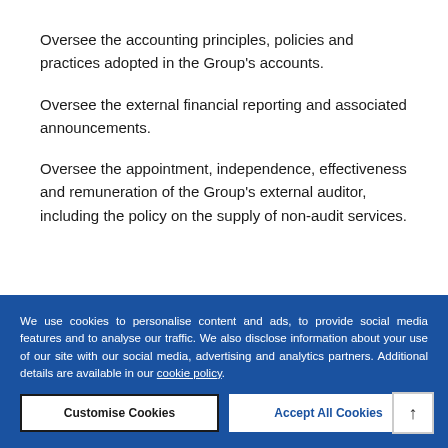Oversee the accounting principles, policies and practices adopted in the Group's accounts.
Oversee the external financial reporting and associated announcements.
Oversee the appointment, independence, effectiveness and remuneration of the Group's external auditor, including the policy on the supply of non-audit services.
We use cookies to personalise content and ads, to provide social media features and to analyse our traffic. We also disclose information about your use of our site with our social media, advertising and analytics partners. Additional details are available in our cookie policy.